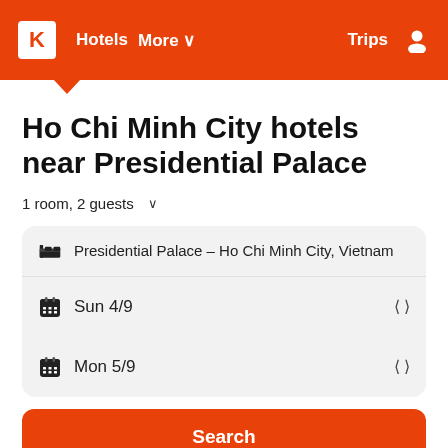K  Hotels  More  Trips
Ho Chi Minh City hotels near Presidential Palace
1 room, 2 guests
Presidential Palace - Ho Chi Minh City, Vietnam
Sun 4/9
Mon 5/9
Search